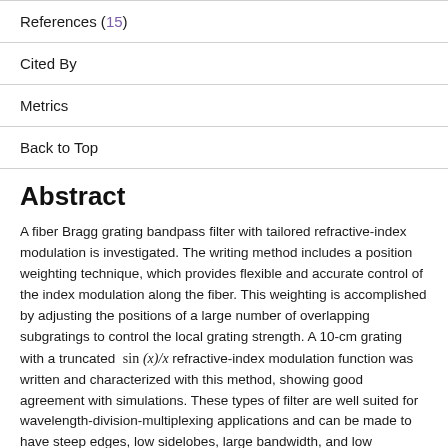References (15)
Cited By
Metrics
Back to Top
Abstract
A fiber Bragg grating bandpass filter with tailored refractive-index modulation is investigated. The writing method includes a position weighting technique, which provides flexible and accurate control of the index modulation along the fiber. This weighting is accomplished by adjusting the positions of a large number of overlapping subgratings to control the local grating strength. A 10-cm grating with a truncated sin (x)/x refractive-index modulation function was written and characterized with this method, showing good agreement with simulations. These types of filter are well suited for wavelength-division-multiplexing applications and can be made to have steep edges, low sidelobes, large bandwidth, and low stopband